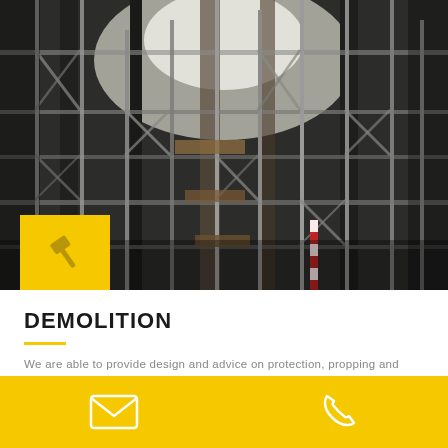[Figure (photo): Looking up through complex steel scaffolding structure inside a large industrial building, showing multiple levels of metal poles and braces against a bright sky]
DEMOLITION
We are able to provide design and advice on protection, propping and support structures on complex demolition projects.
Email and phone contact icons on yellow footer bar